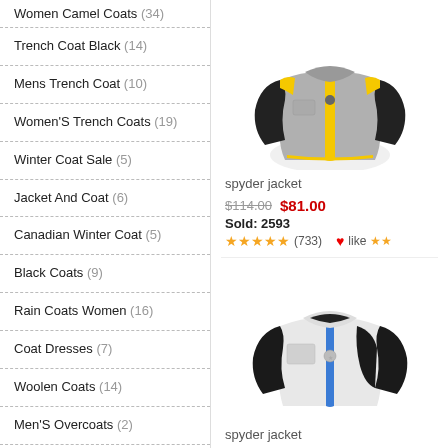Women Camel Coats (34)
Trench Coat Black (14)
Mens Trench Coat (10)
Women'S Trench Coats (19)
Winter Coat Sale (5)
Jacket And Coat (6)
Canadian Winter Coat (5)
Black Coats (9)
Rain Coats Women (16)
Coat Dresses (7)
Woolen Coats (14)
Men'S Overcoats (2)
Womens Camel Coat (17)
Aritzia Cocoon Coat (18)
Canadian Wool Coat (2)
Winter Coat Sales (9)
[Figure (photo): Spyder jacket - grey with black and yellow accents]
spyder jacket
$114.00  $81.00   Sold: 2593   ★★★★★(733)   ♥like ★★
[Figure (photo): Spyder jacket - white with black and blue accents]
spyder jacket